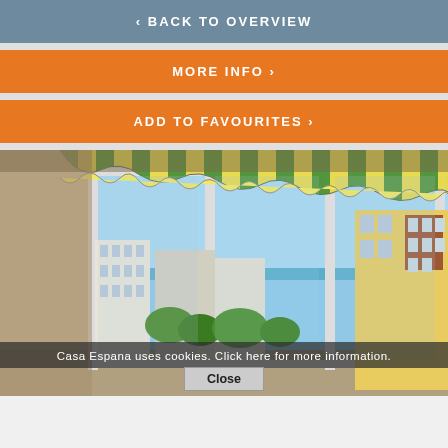‹ BACK TO OVERVIEW
MORE INFO ›
ADD TO FAVOURITES ›
[Figure (photo): Interior view from an apartment looking through large windows with a green and yellow striped retractable awning, showing an outdoor cityscape with apartment buildings, green trees, and the sea/sky in the background.]
Casa Espana uses cookies. Click here for more information.
Close